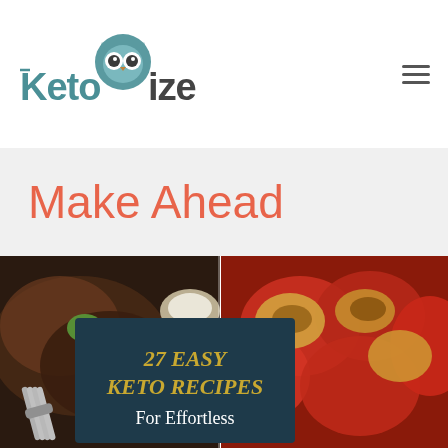KetoWize — navigation header with logo and menu icon
Make Ahead
[Figure (photo): Composite food photo showing grilled/braised meat with herbs on a fork on the left side, and stuffed red peppers with melted cheese on the right side, with an overlaid dark teal banner reading '27 EASY KETO RECIPES For Effortless']